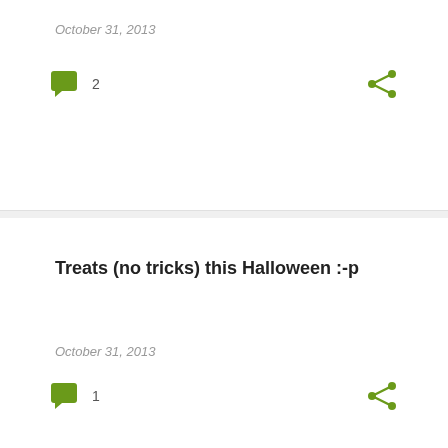October 31, 2013
[Figure (infographic): Green speech bubble comment icon with count 2 and share icon]
Treats (no tricks) this Halloween :-p
October 31, 2013
[Figure (infographic): Green speech bubble comment icon with count 1 and share icon]